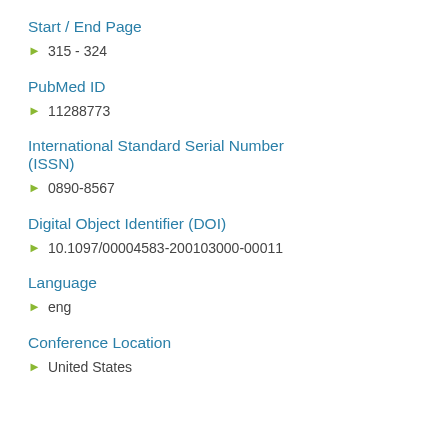Start / End Page
315 - 324
PubMed ID
11288773
International Standard Serial Number (ISSN)
0890-8567
Digital Object Identifier (DOI)
10.1097/00004583-200103000-00011
Language
eng
Conference Location
United States